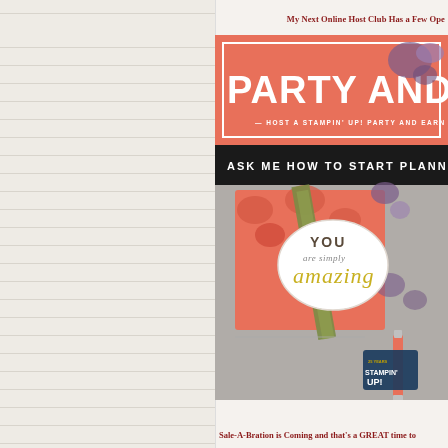My Next Online Host Club Has a Few Ope
[Figure (photo): Stampin' Up! promotional image with coral/salmon colored banner reading 'PARTY AND EA' (Party and Earn), subtitle 'HOST A STAMPIN' UP! PARTY AND EARN EXTRA STAMPIN...', a black strip with 'ASK ME HOW TO START PLANNIN', and a handmade card with floral design showing 'YOU are simply amazing' sentiment on an oval, with ribbon and ink marker props on grey background. Stampin' Up! 25 years logo visible.]
Sale-A-Bration is Coming and that's a GREAT time to